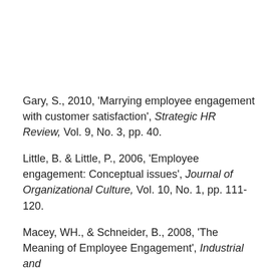Gary, S., 2010, 'Marrying employee engagement with customer satisfaction', Strategic HR Review, Vol. 9, No. 3, pp. 40.
Little, B. & Little, P., 2006, 'Employee engagement: Conceptual issues', Journal of Organizational Culture, Vol. 10, No. 1, pp. 111-120.
Macey, WH., & Schneider, B., 2008, 'The Meaning of Employee Engagement', Industrial and Organizational Psychology, Vol.1, pp. 3–30.